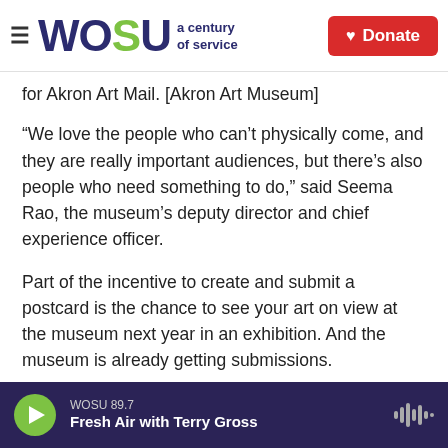WOSU a century of service | Donate
for Akron Art Mail. [Akron Art Museum]
“We love the people who can’t physically come, and they are really important audiences, but there’s also people who need something to do,” said Seema Rao, the museum’s deputy director and chief experience officer.
Part of the incentive to create and submit a postcard is the chance to see your art on view at the museum next year in an exhibition. And the museum is already getting submissions.
WOSU 89.7
Fresh Air with Terry Gross